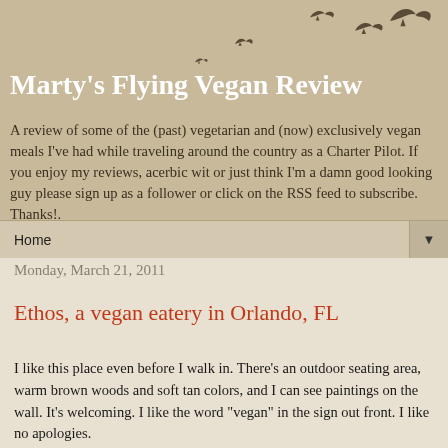Marty's Flying Vegan Review
A review of some of the (past) vegetarian and (now) exclusively vegan meals I've had while traveling around the country as a Charter Pilot. If you enjoy my reviews, acerbic wit or just think I'm a damn good looking guy please sign up as a follower or click on the RSS feed to subscribe. Thanks!.
Home
Monday, March 21, 2011
Ethos, a vegan eatery in Orlando, FL
I like this place even before I walk in.  There's an outdoor seating area, warm brown woods and soft tan colors, and I can see paintings on the wall.  It's welcoming.  I like the word "vegan" in the sign out front.  I like no apologies.